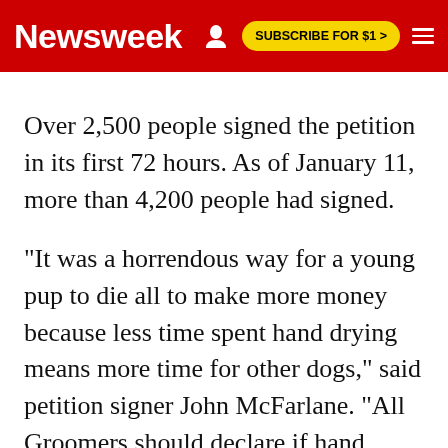Newsweek | SUBSCRIBE FOR $1 >
Over 2,500 people signed the petition in its first 72 hours. As of January 11, more than 4,200 people had signed.
"It was a horrendous way for a young pup to die all to make more money because less time spent hand drying means more time for other dogs," said petition signer John McFarlane. "All Groomers should declare if hand drying or